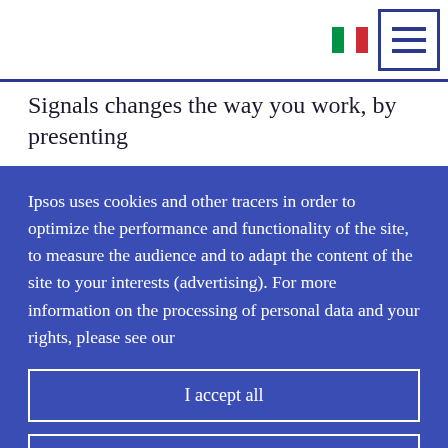Signals changes the way you work, by presenting
Ipsos uses cookies and other tracers in order to optimize the performance and functionality of the site, to measure the audience and to adapt the content of the site to your interests (advertising). For more information on the processing of personal data and your rights, please see our
I accept all
Customise Settings